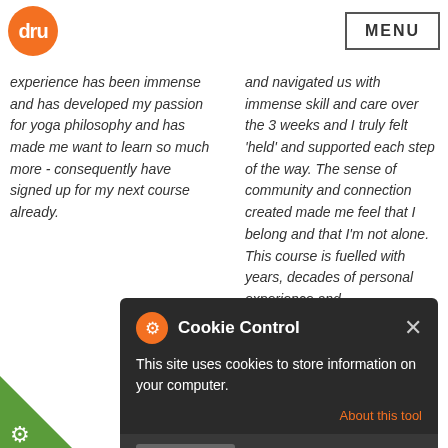dru | MENU
experience has been immense and has developed my passion for yoga philosophy and has made me want to learn so much more - consequently have signed up for my next course already.
and navigated us with immense skill and care over the 3 weeks and I truly felt 'held' and supported each step of the way. The sense of community and connection created made me feel that I belong and that I'm not alone. This course is fuelled with years, decades of personal experience and knowledge/wisdom and I felt privileged to be a part of this sharing and this coming together.
Cookie Control
This site uses cookies to store information on your computer.
About this tool
read more